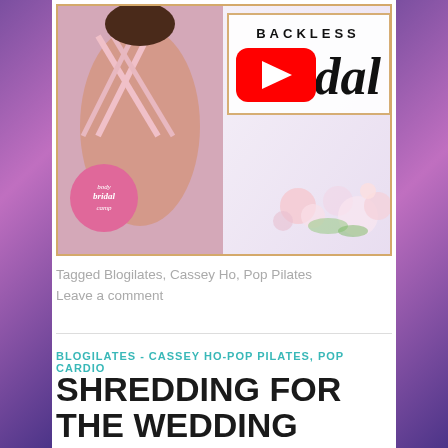[Figure (screenshot): YouTube thumbnail for Backless Bridal workout video. Shows woman's back with crossed straps of pink sports bra, floral arrangement on right, YouTube play button overlay, pink body bridal camp badge on left. Text reads BACKLESS and Bridal in script.]
Tagged Blogilates, Cassey Ho, Pop Pilates
Leave a comment
BLOGILATES - CASSEY HO-POP PILATES, POP CARDIO
SHREDDING FOR THE WEDDING CARDIO